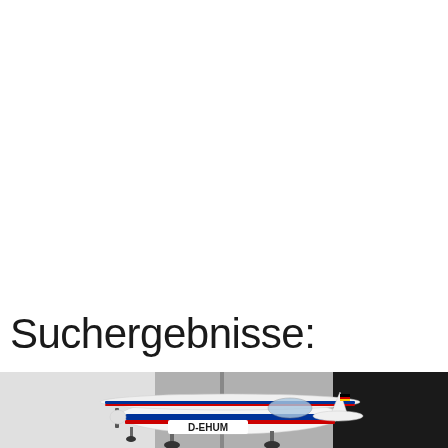Suchergebnisse:
[Figure (photo): Photo of a small white propeller aircraft with red and blue stripes, registration D-EHUM, parked in front of a hangar. A German flag is visible on the tail.]